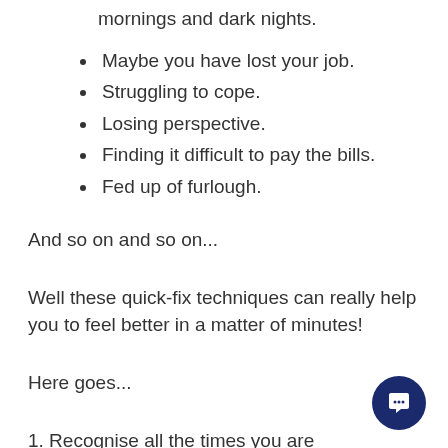mornings and dark nights.
Maybe you have lost your job.
Struggling to cope.
Losing perspective.
Finding it difficult to pay the bills.
Fed up of furlough.
And so on and so on...
Well these quick-fix techniques can really help you to feel better in a matter of minutes!
Here goes...
1. Recognise all the times you are